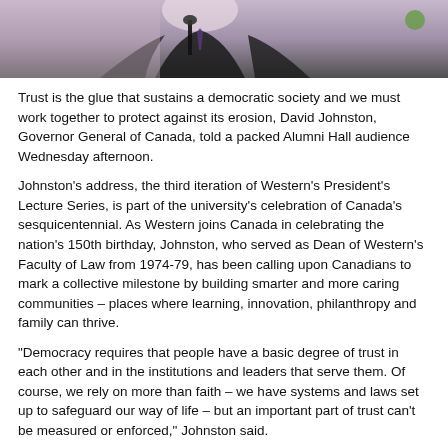[Figure (photo): Photo of a person at a podium or speaking event, partially cropped at top of page]
Trust is the glue that sustains a democratic society and we must work together to protect against its erosion, David Johnston, Governor General of Canada, told a packed Alumni Hall audience Wednesday afternoon.
Johnston's address, the third iteration of Western's President's Lecture Series, is part of the university's celebration of Canada's sesquicentennial. As Western joins Canada in celebrating the nation's 150th birthday, Johnston, who served as Dean of Western's Faculty of Law from 1974-79, has been calling upon Canadians to mark a collective milestone by building smarter and more caring communities – places where learning, innovation, philanthropy and family can thrive.
"Democracy requires that people have a basic degree of trust in each other and in the institutions and leaders that serve them. Of course, we rely on more than faith – we have systems and laws set up to safeguard our way of life – but an important part of trust can't be measured or enforced," Johnston said.